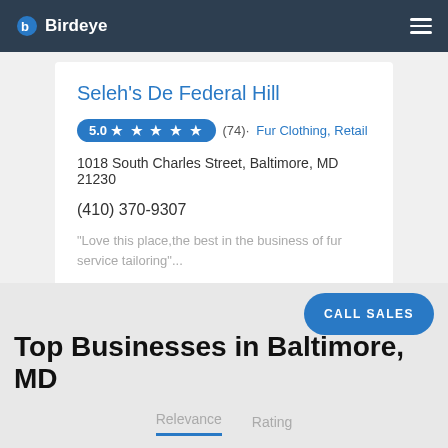Birdeye
Seleh's De Federal Hill
5.0 ★ ★ ★ ★ ★ (74) · Fur Clothing, Retail
1018 South Charles Street, Baltimore, MD 21230
(410) 370-9307
"Love this place,the best in the business of fur service tailoring"...
Top Businesses in Baltimore, MD
Relevance   Rating